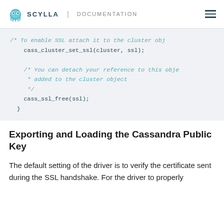SCYLLA | DOCUMENTATION
[Figure (screenshot): Code block showing C code: /* To enable SSL attach it to the cluster obj
cass_cluster_set_ssl(cluster, ssl);

/* You can detach your reference to this obje
 * added to the cluster object
 */
cass_ssl_free(ssl);
}]
Exporting and Loading the Cassandra Public Key
The default setting of the driver is to verify the certificate sent during the SSL handshake. For the driver to properly